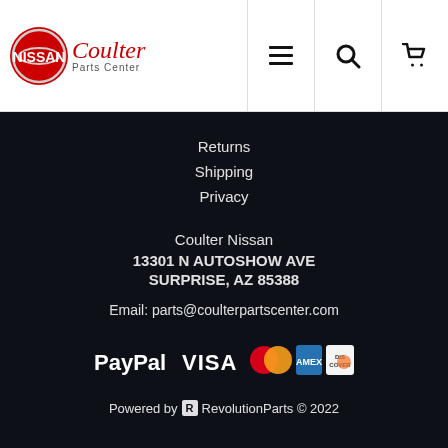[Figure (logo): Coulter Nissan Parts Center logo with Nissan emblem and cursive Coulter text]
Returns
Shipping
Privacy
Coulter Nissan
13301 N AUTOSHOW AVE
SURPRISE, AZ 85388
Email: parts@coulterpartscenter.com
[Figure (logo): Payment method logos: PayPal, VISA, Mastercard, American Express, Discover]
Powered by RevolutionParts © 2022